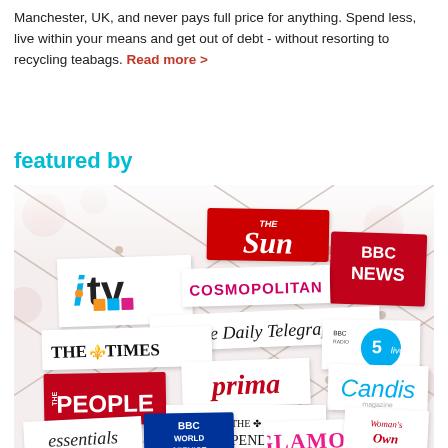Manchester, UK, and never pays full price for anything. Spend less, live within your means and get out of debt - without resorting to recycling teabags. Read more >
featured by
[Figure (illustration): A notice board with a diamond lattice pattern pinned with logos of UK media outlets: The Sun, BBC News, ITV, Cosmopolitan, The Daily Telegraph, The Times, BBC Radio 5 Live, Prima, The People, Candis, The Independent, Essentials, BBC World Service, Glamour, Woman's Own]